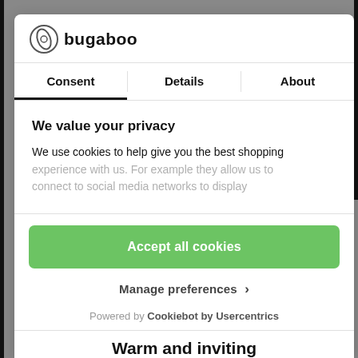[Figure (logo): Bugaboo logo with circular icon and text 'bugaboo']
Consent | Details | About
We value your privacy
We use cookies to help give you the best shopping experience with us. For example they allow us to connect to social media networks to display
Accept all cookies
Manage preferences >
Powered by Cookiebot by Usercentrics
Warm and inviting